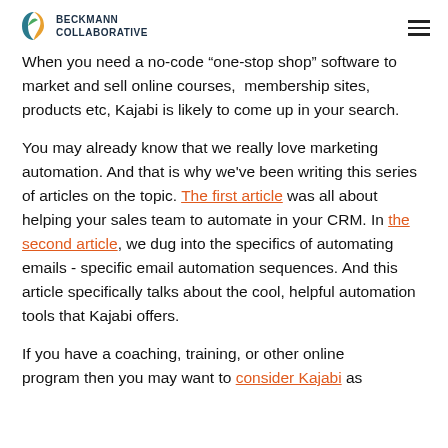BECKMANN COLLABORATIVE
When you need a no-code “one-stop shop” software to market and sell online courses,  membership sites, products etc, Kajabi is likely to come up in your search.
You may already know that we really love marketing automation. And that is why we've been writing this series of articles on the topic. The first article was all about helping your sales team to automate in your CRM. In the second article, we dug into the specifics of automating emails - specific email automation sequences. And this article specifically talks about the cool, helpful automation tools that Kajabi offers.
If you have a coaching, training, or other online program then you may want to consider Kajabi as